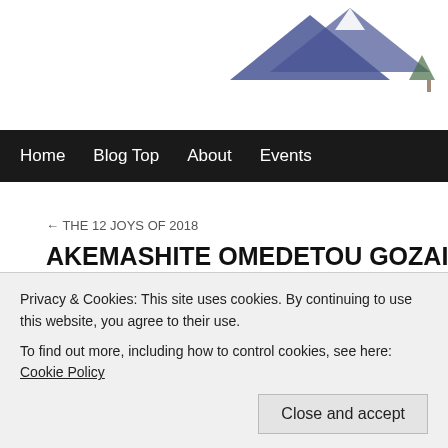Website header with Mt. Fuji illustration
Home | Blog Top | About | Events
← THE 12 JOYS OF 2018
AKEMASHITE OMEDETOU GOZAIMASU
Posted on January 1, 2018 by Blue and White
[Figure (photo): Japanese calligraphy on fabric with wooden frame edge, red decorative elements at bottom]
Privacy & Cookies: This site uses cookies. By continuing to use this website, you agree to their use.
To find out more, including how to control cookies, see here: Cookie Policy
Close and accept